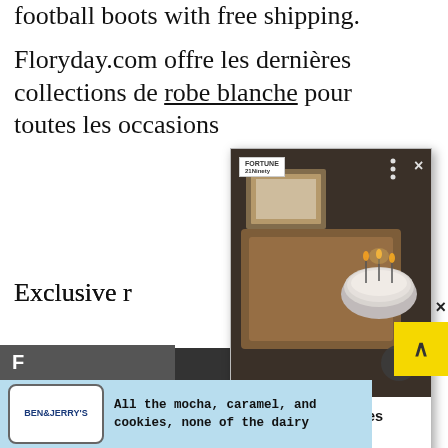football boots with free shipping.
Floryday.com offre les dernières collections de robe blanche pour toutes les occasions
Exclusive re
[Figure (screenshot): Popup overlay showing candle on wooden tray with article headline: Burn Your Troubles Away With These Intoxicating Candles - 21Ninety]
Shop
Fashion Bombshells
F
[Figure (other): Ben & Jerry's advertisement banner: All the mocha, caramel, and cookies, none of the dairy]
×